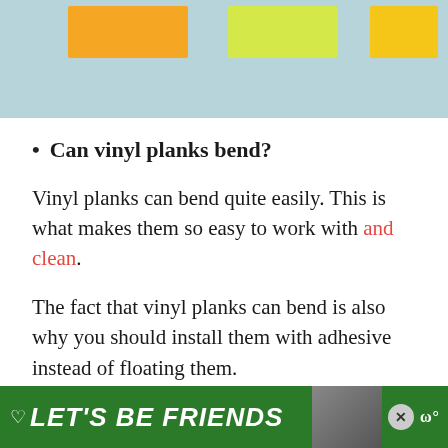[Figure (photo): Top portion of a photo showing colored sticky notes (orange, yellow-green, yellow) on a light blue wooden background]
Can vinyl planks bend?
Vinyl planks can bend quite easily. This is what makes them so easy to work with and clean.
The fact that vinyl planks can bend is also why you should install them with adhesive instead of floating them.
What underlayment to use for vinyl
[Figure (other): Green advertisement banner at the bottom reading LET'S BE FRIENDS with a dog image and close button]